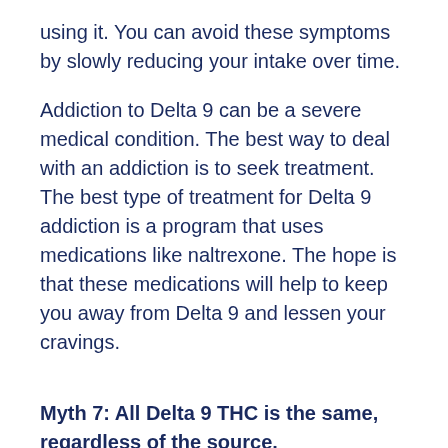using it. You can avoid these symptoms by slowly reducing your intake over time.
Addiction to Delta 9 can be a severe medical condition. The best way to deal with an addiction is to seek treatment. The best type of treatment for Delta 9 addiction is a program that uses medications like naltrexone. The hope is that these medications will help to keep you away from Delta 9 and lessen your cravings.
Myth 7: All Delta 9 THC is the same, regardless of the source.
Fact: Delta-9 THC is in the form of THC that is present in the plant; it is not the same as CBD.
Delta-9 THC is a synthetic form of THC that has been modified to show a different chemical makeup